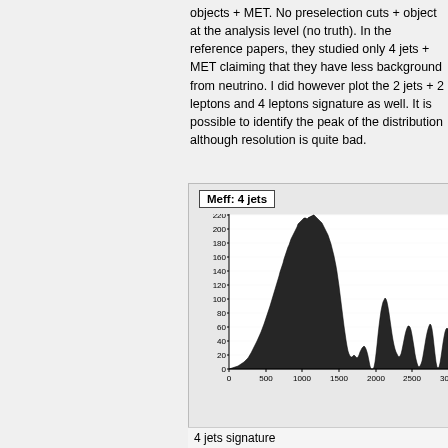objects + MET. No preselection cuts + object at the analysis level (no truth). In the reference papers, they studied only 4 jets + MET claiming that they have less background from neutrino. I did however plot the 2 jets + 2 leptons and 4 leptons signature as well. It is possible to identify the peak of the distribution although resolution is quite bad.
[Figure (continuous-plot): Histogram of Meff distribution for the 4 jets signature. X-axis ranges from 0 to 3000+, Y-axis from 0 to 220. The distribution peaks around 200 near x=700-900 and falls off on both sides, with a noisy jagged appearance.]
4 jets signature